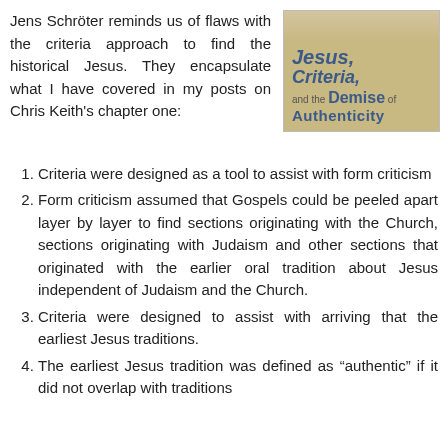Jens Schröter reminds us of flaws with the criteria approach to find the historical Jesus. They encapsulate what I have covered in my posts on Chris Keith's chapter one:
[Figure (illustration): Book cover for 'Jesus, Criteria, and the Demise of Authenticity' with sandy/beige background and blue text]
Criteria were designed as a tool to assist with form criticism
Form criticism assumed that Gospels could be peeled apart layer by layer to find sections originating with the Church, sections originating with Judaism and other sections that originated with the earlier oral tradition about Jesus independent of Judaism and the Church.
Criteria were designed to assist with arriving that the earliest Jesus traditions.
The earliest Jesus tradition was defined as "authentic" if it did not overlap with traditions